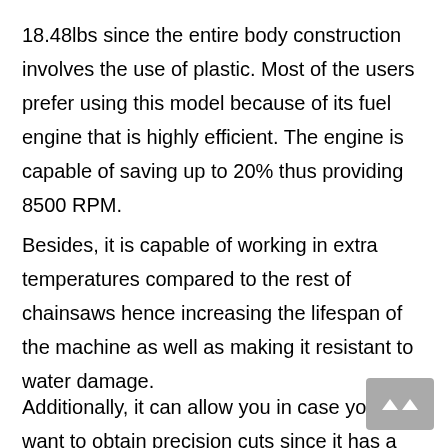18.48lbs since the entire body construction involves the use of plastic. Most of the users prefer using this model because of its fuel engine that is highly efficient. The engine is capable of saving up to 20% thus providing 8500 RPM.
Besides, it is capable of working in extra temperatures compared to the rest of chainsaws hence increasing the lifespan of the machine as well as making it resistant to water damage.
Additionally, it can allow you in case you want to obtain precision cuts since it has a guide plate to